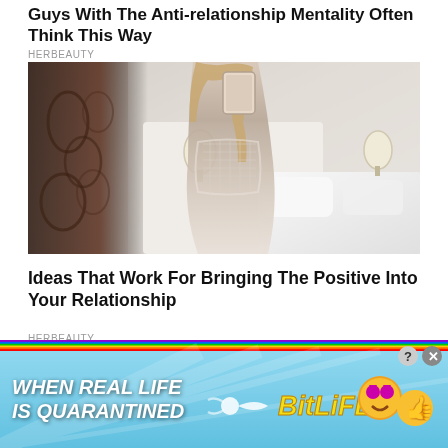Guys With The Anti-relationship Mentality Often Think This Way
HERBEAUTY
[Figure (photo): A young blonde woman taking a selfie in a mirror while wearing a white crochet/mesh top, in a hotel room with a white bed and dark curtain.]
Ideas That Work For Bringing The Positive Into Your Relationship
HERBEAUTY
[Figure (infographic): BitLife advertisement banner with rainbow stripe, blue sky background, and text: WHEN REAL LIFE IS QUARANTINED and BitLife logo with emoji characters.]